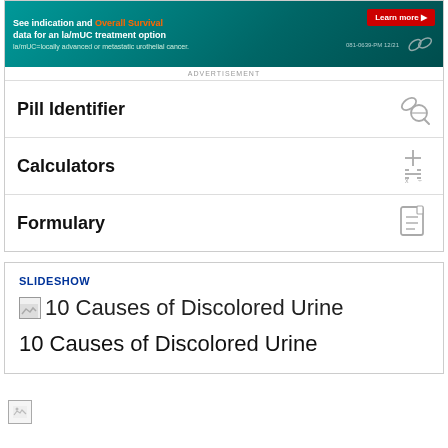[Figure (screenshot): Advertisement banner for la/mMC treatment option with teal gradient background, red Learn more button, and pill icon]
ADVERTISEMENT
Pill Identifier
Calculators
Formulary
SLIDESHOW
10 Causes of Discolored Urine
10 Causes of Discolored Urine